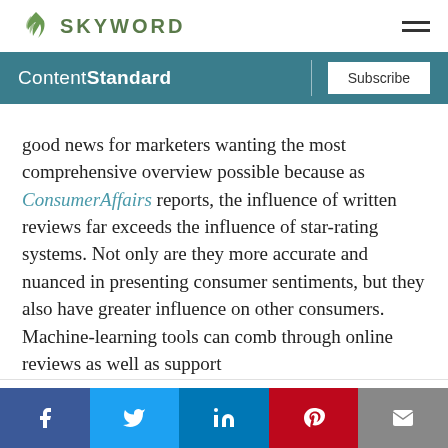SKYWORD
ContentStandard | Subscribe
good news for marketers wanting the most comprehensive overview possible because as ConsumerAffairs reports, the influence of written reviews far exceeds the influence of star-rating systems. Not only are they more accurate and nuanced in presenting consumer sentiments, but they also have greater influence on other consumers. Machine-learning tools can comb through online reviews as well as support ti...
This website uses cookies to improve your experience. We'll assume you're ok with this, but you can opt-out if you wish.
f  Twitter  in  Pinterest  Email